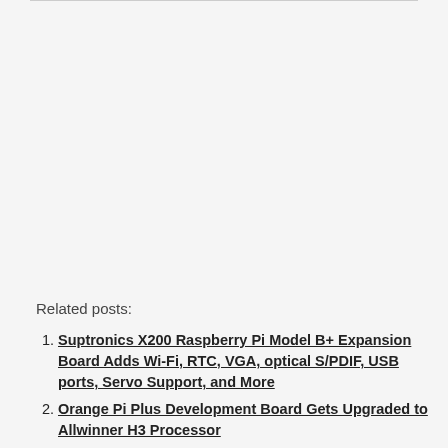Related posts:
Suptronics X200 Raspberry Pi Model B+ Expansion Board Adds Wi-Fi, RTC, VGA, optical S/PDIF, USB ports, Servo Support, and More
Orange Pi Plus Development Board Gets Upgraded to Allwinner H3 Processor